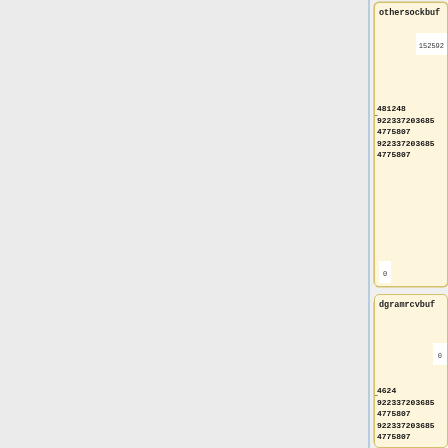[Figure (schematic): Two parameter blocks shown as cards. First card labeled 'othersockbuf' with values: 152592, 481248, 922337203685, 4775807, 922337203685, 4775807, and 0. Second card labeled 'dgramrcvbuf' with values: 0, 4624, 922337203685, 4775807, 922337203685, 4775807.]